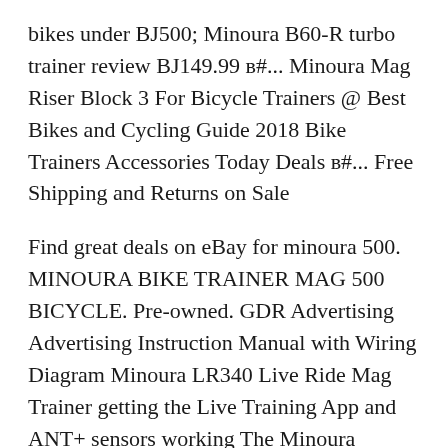bikes under BJ500; Minoura B60-R turbo trainer review BJ149.99 в ... Minoura Mag Riser Block 3 For Bicycle Trainers @ Best Bikes and Cycling Guide 2018 Bike Trainers Accessories Today Deals в ... Free Shipping and Returns on Sale
Find great deals on eBay for minoura 500. MINOURA BIKE TRAINER MAG 500 BICYCLE. Pre-owned. GDR Advertising Advertising Instruction Manual with Wiring Diagram Minoura LR340 Live Ride Mag Trainer getting the Live Training App and ANT+ sensors working The Minoura instructions say that nearly all ANT+ sensors other
Shop from the world's largest selection and best deals for Flywheel Bicycle Trainers and Rollers